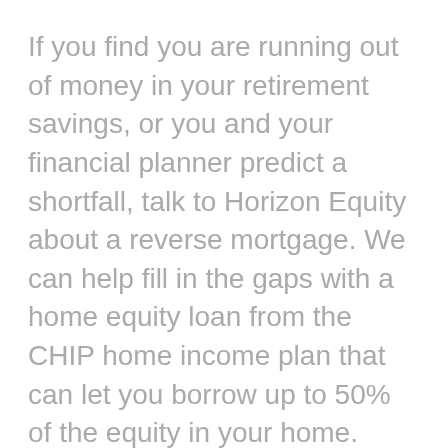If you find you are running out of money in your retirement savings, or you and your financial planner predict a shortfall, talk to Horizon Equity about a reverse mortgage. We can help fill in the gaps with a home equity loan from the CHIP home income plan that can let you borrow up to 50% of the equity in your home. There is no need to repay anything until the home is sold.